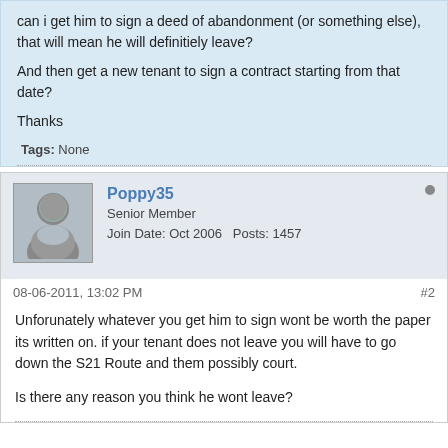can i get him to sign a deed of abandonment (or something else), that will mean he will definitiely leave?

And then get a new tenant to sign a contract starting from that date?

Thanks
Tags: None
Poppy35
Senior Member
Join Date: Oct 2006   Posts: 1457
08-06-2011, 13:02 PM
#2
Unforunately whatever you get him to sign wont be worth the paper its written on. if your tenant does not leave you will have to go down the S21 Route and them possibly court.

Is there any reason you think he wont leave?